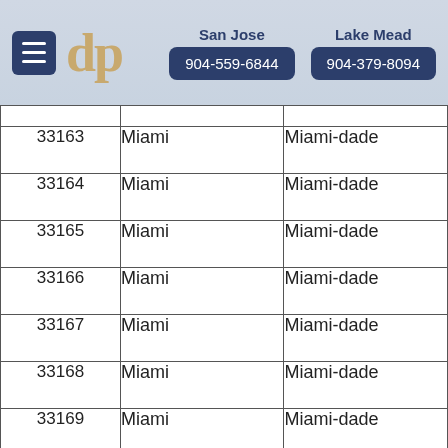San Jose 904-559-6844 | Lake Mead 904-379-8094
| ZIP | City | County |
| --- | --- | --- |
| 33163 | Miami | Miami-dade |
| 33164 | Miami | Miami-dade |
| 33165 | Miami | Miami-dade |
| 33166 | Miami | Miami-dade |
| 33167 | Miami | Miami-dade |
| 33168 | Miami | Miami-dade |
| 33169 | Miami | Miami-dade |
| 33170 |  |  |